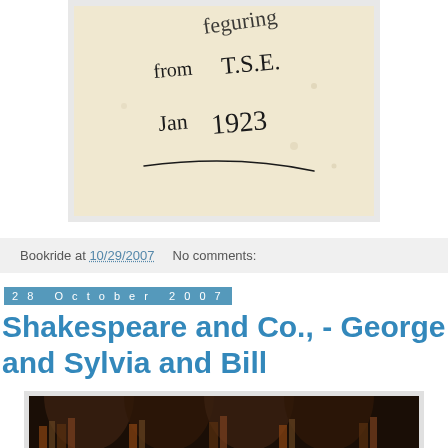[Figure (photo): Handwritten inscription on aged paper reading text with 'from T.S.E.' and 'Jan 1923' with a flourish underline, sepia/cream colored background]
Bookride at 10/29/2007    No comments:
28 October 2007
Shakespeare and Co., - George and Sylvia and Bill
[Figure (photo): Dark interior photo of a bookshop showing bookshelves]